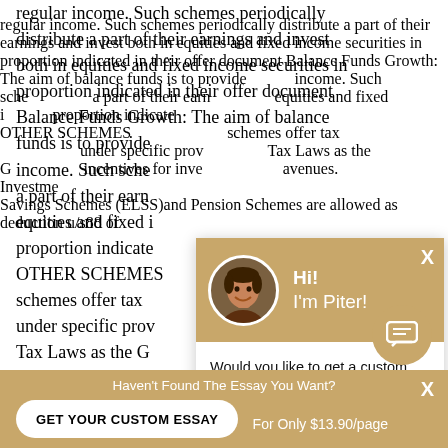regular income. Such schemes periodically distribute a part of their earnings and invest both in equities and fixed income securities in proportion indicated in their offer document Balance Funds Growth: The aim of balance funds is to provide income. Such schemes distribute a part of their earnings and invest both in equities and fixed income securities in proportion indicated in their offer document OTHER SCHEMES schemes offer tax benefits under specific provisions of the Tax Laws as the Government offers tax incentives for investment in these avenues. Investment in Equity Linked Savings Schemes (ELSS)and Pension Schemes are allowed as deduction u/s88 of
[Figure (other): Chat popup overlay with avatar of a young man, greeting 'Hi! I'm Piter!', and message 'Would you like to get a custom essay? How about receiving a customized one?' with a 'Check it out' link.]
Haven't Found The Essay You Want? GET YOUR CUSTOM ESSAY For Only $13.90/page X